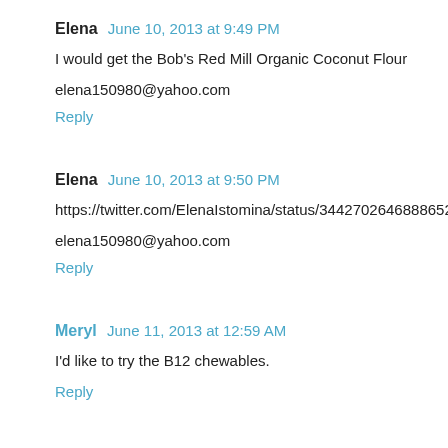Elena  June 10, 2013 at 9:49 PM
I would get the Bob's Red Mill Organic Coconut Flour
elena150980@yahoo.com
Reply
Elena  June 10, 2013 at 9:50 PM
https://twitter.com/ElenaIstomina/status/344270264688865280
elena150980@yahoo.com
Reply
Meryl  June 11, 2013 at 12:59 AM
I'd like to try the B12 chewables.
Reply